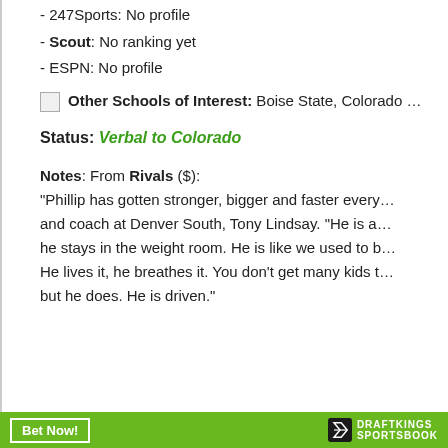- 247Sports: No profile
- Scout: No ranking yet
- ESPN: No profile
Other Schools of Interest: Boise State, Colorado ...
Status: Verbal to Colorado
Notes: From Rivals ($): "Phillip has gotten stronger, bigger and faster every... and coach at Denver South, Tony Lindsay. "He is a... he stays in the weight room. He is like we used to b... He lives it, he breathes it. You don't get many kids t... but he does. He is driven."
Bet Now! | DraftKings Sportsbook